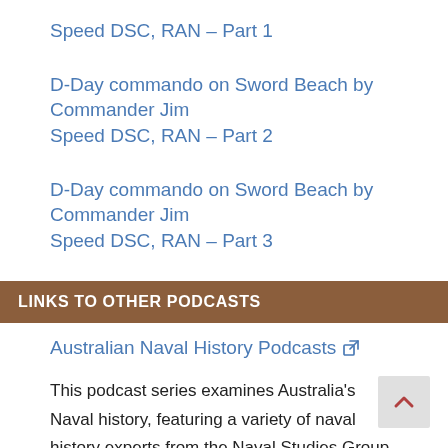D-Day commando on Sword Beach by Commander Jim Speed DSC, RAN – Part 1
D-Day commando on Sword Beach by Commander Jim Speed DSC, RAN – Part 2
D-Day commando on Sword Beach by Commander Jim Speed DSC, RAN – Part 3
LINKS TO OTHER PODCASTS
Australian Naval History Podcasts
This podcast series examines Australia's Naval history, featuring a variety of naval history experts from the Naval Studies Group and elsewhere.
Produced by the Naval Studies Group in conjunction with the Submarine Institute of Australia, the Australian Naval Institute, Naval Historical Society and the RAN